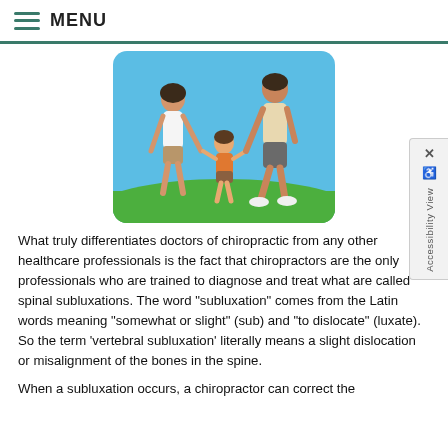MENU
[Figure (photo): A family of three — a woman, a man, and a young child — walking on grass under a blue sky. The adults each hold one of the child's hands.]
What truly differentiates doctors of chiropractic from any other healthcare professionals is the fact that chiropractors are the only professionals who are trained to diagnose and treat what are called spinal subluxations. The word "subluxation" comes from the Latin words meaning "somewhat or slight" (sub) and "to dislocate" (luxate). So the term 'vertebral subluxation' literally means a slight dislocation or misalignment of the bones in the spine.
When a subluxation occurs, a chiropractor can correct the